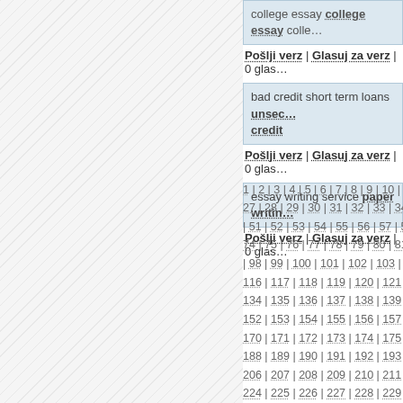college essay college essay colle…
Pošlji verz | Glasuj za verz | 0 glas…
bad credit short term loans unsecured credit
Pošlji verz | Glasuj za verz | 0 glas…
essay writing service paper writin…
Pošlji verz | Glasuj za verz | 0 glas…
1 | 2 | 3 | 4 | 5 | 6 | 7 | 8 | 9 | 10 | 11 … 27 | 28 | 29 | 30 | 31 | 32 | 33 | 34 | 3… | 51 | 52 | 53 | 54 | 55 | 56 | 57 | 58… 74 | 75 | 76 | 77 | 78 | 79 | 80 | 81 | 8… | 98 | 99 | 100 | 101 | 102 | 103 | 1… 116 | 117 | 118 | 119 | 120 | 121 | 1… 134 | 135 | 136 | 137 | 138 | 139 | 1… 152 | 153 | 154 | 155 | 156 | 157 | 1… 170 | 171 | 172 | 173 | 174 | 175 | 1… 188 | 189 | 190 | 191 | 192 | 193 | 1… 206 | 207 | 208 | 209 | 210 | 211 | 2… 224 | 225 | 226 | 227 | 228 | 229 | 1…